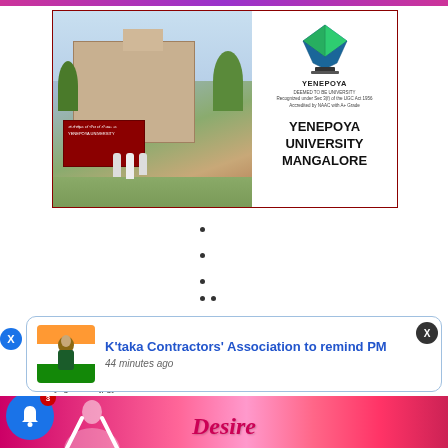[Figure (photo): Yenepoya University Mangalore banner image showing the university building entrance on the left and the university logo with name on the right. Logo is a green and blue diamond shape. Text reads YENEPOYA, DEEMED TO BE UNIVERSITY, Recognized under Sec 3(f) of the UGC Act 1956, Accredited by NAAC with A+ Grade, YENEPOYA UNIVERSITY MANGALORE.]
•
•
•
• •
•
• •
•
[Figure (photo): Notification popup showing a photo of PM Modi and text: K'taka Contractors' Association to remind PM, 44 minutes ago]
Members Login
[login-wi...r.jpg]
Desire